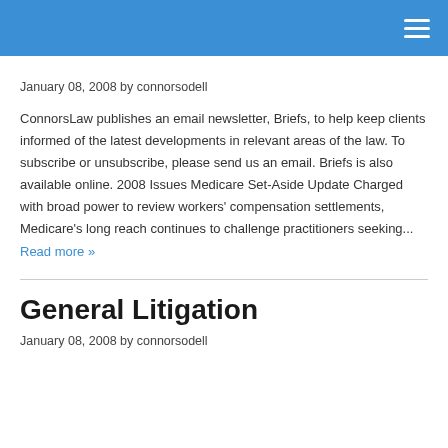ConnorsLaw website header with navigation menu icon
January 08, 2008 by connorsodell
ConnorsLaw publishes an email newsletter, Briefs, to help keep clients informed of the latest developments in relevant areas of the law. To subscribe or unsubscribe, please send us an email. Briefs is also available online. 2008 Issues Medicare Set-Aside Update Charged with broad power to review workers' compensation settlements, Medicare's long reach continues to challenge practitioners seeking... Read more »
General Litigation
January 08, 2008 by connorsodell